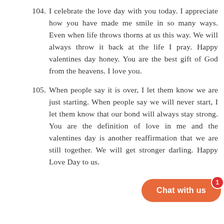104. I celebrate the love day with you today. I appreciate how you have made me smile in so many ways. Even when life throws thorns at us this way. We will always throw it back at the life I pray. Happy valentines day honey. You are the best gift of God from the heavens. I love you.
105. When people say it is over, I let them know we are just starting. When people say we will never start, I let them know that our bond will always stay strong. You are the definition of love in me and the valentines day is another reaffirmation that we are still together. We will get stronger darling. Happy Love Day to us.